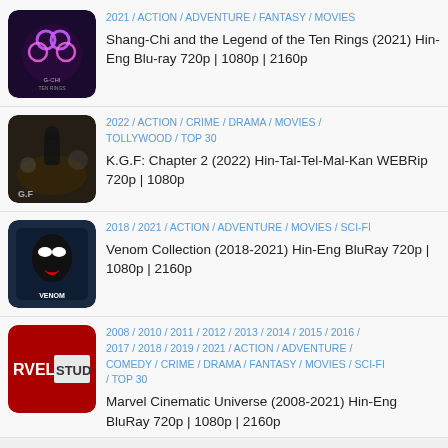[Figure (illustration): Shang-Chi movie poster thumbnail with dark background and glowing rings]
2021 / ACTION / ADVENTURE / FANTASY / MOVIES
Shang-Chi and the Legend of the Ten Rings (2021) Hin-Eng Blu-ray 720p | 1080p | 2160p
[Figure (illustration): K.G.F Chapter 2 movie poster thumbnail with dark atmospheric scene]
2022 / ACTION / CRIME / DRAMA / MOVIES / TOLLYWOOD / TOP 30
K.G.F: Chapter 2 (2022) Hin-Tal-Tel-Mal-Kan WEBRip 720p | 1080p
[Figure (illustration): Venom movie poster thumbnail with Venom character on dark blue background]
2018 / 2021 / ACTION / ADVENTURE / MOVIES / SCI-FI
Venom Collection (2018-2021) Hin-Eng BluRay 720p | 1080p | 2160p
[Figure (illustration): Marvel Studios logo thumbnail with red background]
2008 / 2010 / 2011 / 2012 / 2013 / 2014 / 2015 / 2016 / 2017 / 2018 / 2019 / 2021 / ACTION / ADVENTURE / COMEDY / CRIME / DRAMA / FANTASY / MOVIES / SCI-FI / TOP 30
Marvel Cinematic Universe (2008-2021) Hin-Eng BluRay 720p | 1080p | 2160p